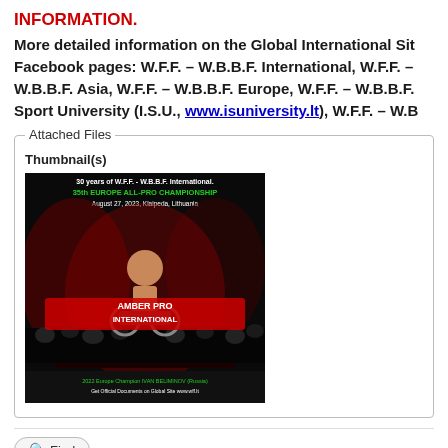INFORMATION.
More detailed information on the Global International Site Facebook pages: W.F.F. – W.B.B.F. International, W.F.F. – W.B.B.F. Asia, W.F.F. – W.B.B.F. Europe, W.F.F. – W.B.B.F. Sport University (I.S.U., www.isuniversity.lt), W.F.F. – W.B...
Attached Files
Thumbnail(s)
[Figure (photo): Event poster for 30 years of W.F.F. - W.B.B.F. International, 35th Europe All-Pro Championship, August 27, 2023, Klaipeda, Lithuania. AMBER PRO INTERNATIONAL. Features a bodybuilder in a wheelchair on stage.]
Find
International Secretary
Administrator